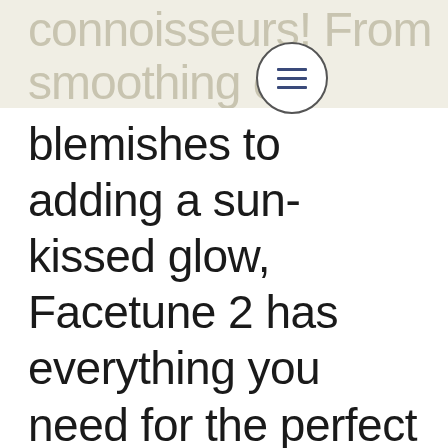connoisseurs! From smoothing out
[Figure (other): Hamburger menu button — a circle with three horizontal lines inside]
blemishes to adding a sun-kissed glow, Facetune 2 has everything you need for the perfect selfie! MixCam Have you